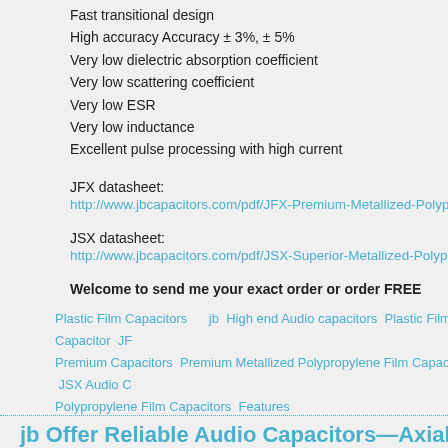Fast transitional design
High accuracy Accuracy ± 3%, ± 5%
Very low dielectric absorption coefficient
Very low scattering coefficient
Very low ESR
Very low inductance
Excellent pulse processing with high current
JFX datasheet:
http://www.jbcapacitors.com/pdf/JFX-Premium-Metallized-Polypropylene-Film-Capa
JSX datasheet:
http://www.jbcapacitors.com/pdf/JSX-Superior-Metallized-Polypropylene-Film-Capa
Welcome to send me your exact order or order FREE SAMPLES!
.
Plastic Film Capacitors    jb  High end Audio capacitors  Plastic Film Capacitor  JF  Premium Capacitors  Premium Metallized Polypropylene Film Capacitors  JSX Audio C  Polypropylene Film Capacitors  Features
jb Offer Reliable Audio Capacitors—Axial MKP Ca